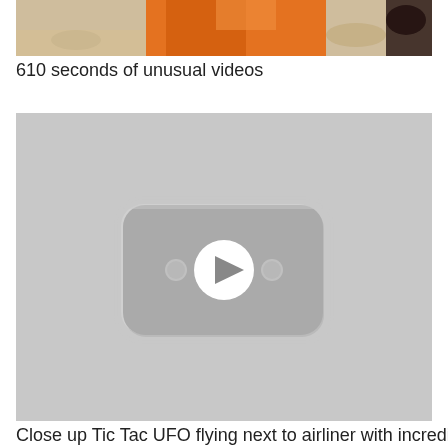[Figure (photo): Partial view of a person in an orange jacket, cropped at the top of the page, outdoor setting with rocks/gravel background]
610 seconds of unusual videos
[Figure (screenshot): YouTube video thumbnail placeholder showing a grey background with a YouTube play button icon (rounded rectangle with play triangle and two dots)]
Close up Tic Tac UFO flying next to airliner with incredible